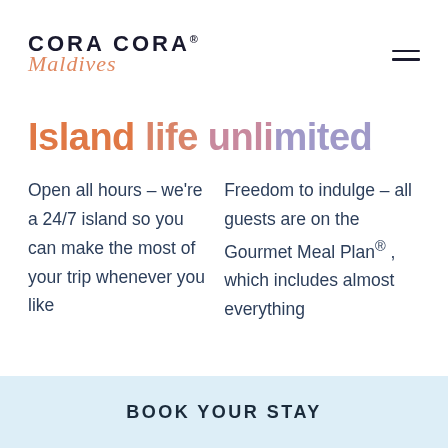CORA CORA® Maldives
Island life unlimited
Open all hours – we're a 24/7 island so you can make the most of your trip whenever you like
Freedom to indulge – all guests are on the Gourmet Meal Plan®, which includes almost everything
BOOK YOUR STAY